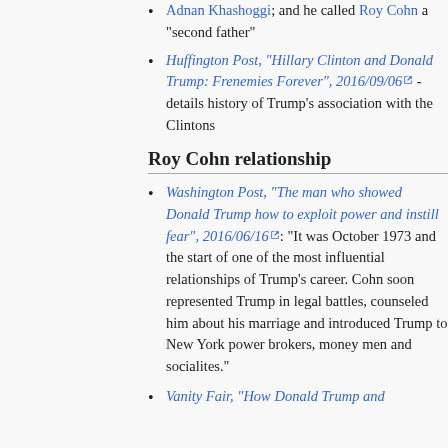Adnan Khashoggi; and he called Roy Cohn a "second father"
Huffington Post, "Hillary Clinton and Donald Trump: Frenemies Forever", 2016/09/06 - details history of Trump's association with the Clintons
Roy Cohn relationship
Washington Post, "The man who showed Donald Trump how to exploit power and instill fear", 2016/06/16: "It was October 1973 and the start of one of the most influential relationships of Trump's career. Cohn soon represented Trump in legal battles, counseled him about his marriage and introduced Trump to New York power brokers, money men and socialites."
Vanity Fair, "How Donald Trump and